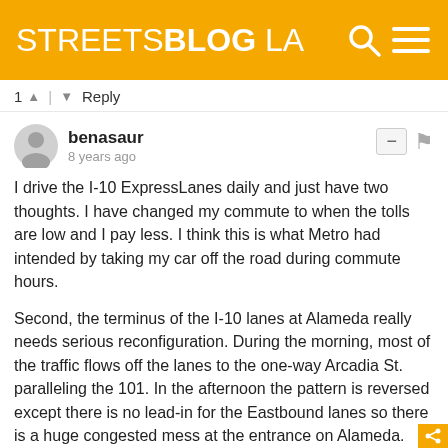STREETSBLOG LA
1 ∧ | ∧ Reply
benasaur
8 years ago
I drive the I-10 ExpressLanes daily and just have two thoughts. I have changed my commute to when the tolls are low and I pay less. I think this is what Metro had intended by taking my car off the road during commute hours.

Second, the terminus of the I-10 lanes at Alameda really needs serious reconfiguration. During the morning, most of the traffic flows off the lanes to the one-way Arcadia St. paralleling the 101. In the afternoon the pattern is reversed except there is no lead-in for the Eastbound lanes so there is a huge congested mess at the entrance on Alameda. Eastbound traffic from downtown must first turn left onto Alameda and turn right to get on the lanes. Sometimes when taking the Silver Line, my trip has been delayed as much as 20 minutes compared to when there were no ExpressLanes. I keep waiting for some plausible fix with the Union Station